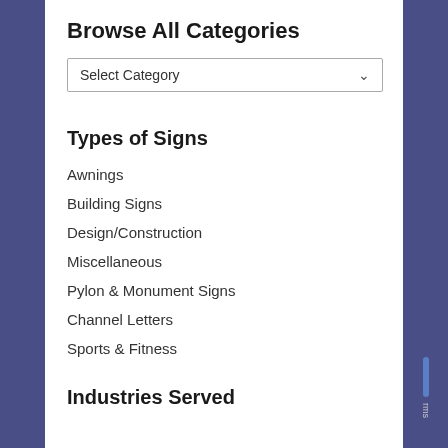Browse All Categories
[Figure (screenshot): Dropdown/select element with placeholder text 'Select Category' and a chevron arrow on the right, bordered box]
Types of Signs
Awnings
Building Signs
Design/Construction
Miscellaneous
Pylon & Monument Signs
Channel Letters
Sports & Fitness
Industries Served